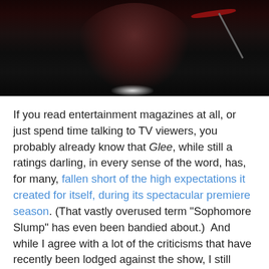[Figure (photo): Photo of a person in a dark v-neck shirt against a dark background, with what appears to be drum equipment including a cymbal visible.]
If you read entertainment magazines at all, or just spend time talking to TV viewers, you probably already know that Glee, while still a ratings darling, in every sense of the word, has, for many, fallen short of the high expectations it created for itself, during its spectacular premiere season. (That vastly overused term “Sophomore Slump” has even been bandied about.)  And while I agree with a lot of the criticisms that have recently been lodged against the show, I still think that Glee gave us fans a lot to love this year . . .